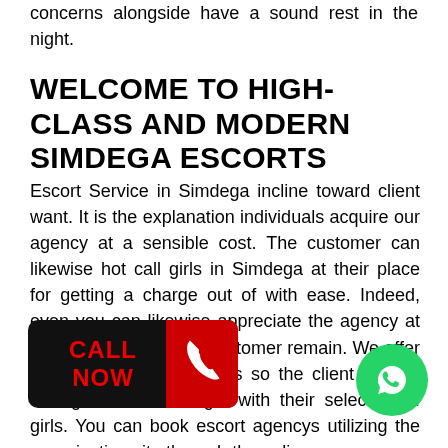concerns alongside have a sound rest in the night.
WELCOME TO HIGH-CLASS AND MODERN SIMDEGA ESCORTS
Escort Service in Simdega incline toward client want. It is the explanation individuals acquire our agency at a sensible cost. The customer can likewise hot call girls in Simdega at their place for getting a charge out of with ease. Indeed, even you can likewise appreciate the agency at the lodging where the customer remain. We offer a wide scope of call girls so the client can go through the entire night with their selection of girls. You can book escort agencys utilizing the organization site through the online cy n stigate an assortm f ns and we offer a similar nt can need to reliable help.
[Figure (other): Call Now button with phone icon, black background with red text and red phone icon box]
[Figure (other): WhatsApp green circle icon]